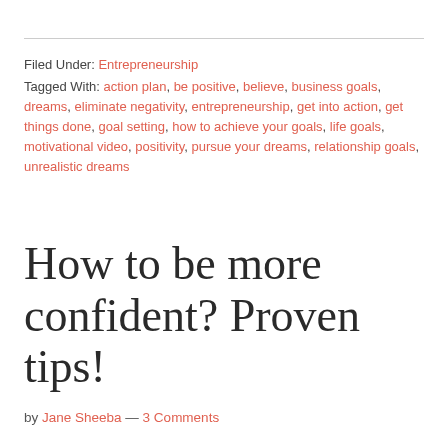Filed Under: Entrepreneurship
Tagged With: action plan, be positive, believe, business goals, dreams, eliminate negativity, entrepreneurship, get into action, get things done, goal setting, how to achieve your goals, life goals, motivational video, positivity, pursue your dreams, relationship goals, unrealistic dreams
How to be more confident? Proven tips!
by Jane Sheeba — 3 Comments